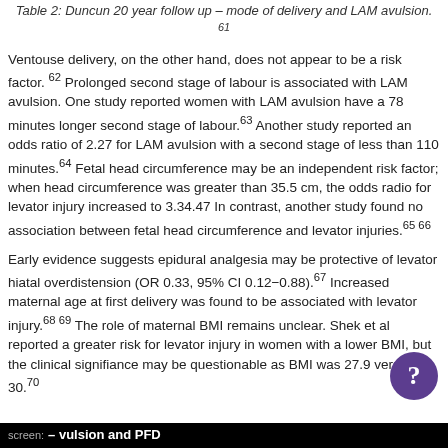Table 2: Duncun 20 year follow up – mode of delivery and LAM avulsion. 61
Ventouse delivery, on the other hand, does not appear to be a risk factor. 62 Prolonged second stage of labour is associated with LAM avulsion. One study reported women with LAM avulsion have a 78 minutes longer second stage of labour.63 Another study reported an odds ratio of 2.27 for LAM avulsion with a second stage of less than 110 minutes.64 Fetal head circumference may be an independent risk factor; when head circumference was greater than 35.5 cm, the odds radio for levator injury increased to 3.34.47 In contrast, another study found no association between fetal head circumference and levator injuries.65 66
Early evidence suggests epidural analgesia may be protective of levator hiatal overdistension (OR 0.33, 95% CI 0.12−0.88).67 Increased maternal age at first delivery was found to be associated with levator injury.68 69 The role of maternal BMI remains unclear. Shek et al reported a greater risk for levator injury in women with a lower BMI, but the clinical significance may be questionable as BMI was 27.9 versus 30.70
– vulsion and PFD